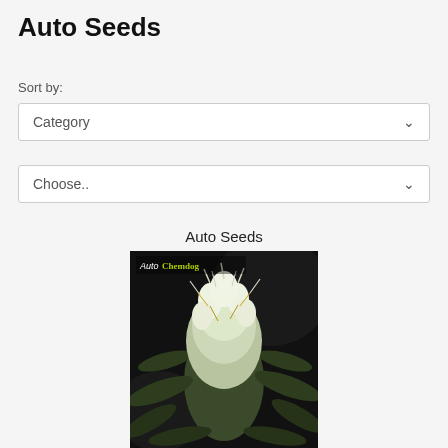Auto Seeds
Sort by:
Category
Choose..
Auto Seeds
[Figure (photo): Close-up photo of an Auto Chemdog cannabis plant in full flower, with white trichome-covered buds against a dark background. Text overlay reads 'Auto Chemdog' in white and yellow-green lettering.]